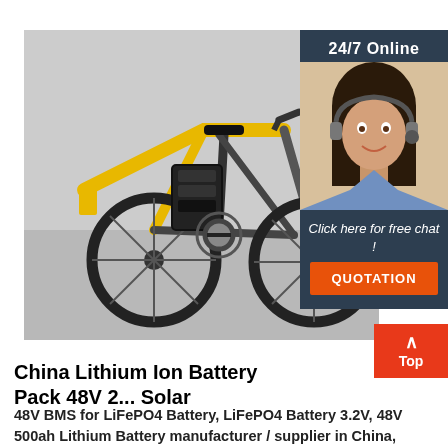[Figure (photo): Close-up photo of a yellow and black electric bicycle with a battery pack mounted on the frame, shown against a light gray background. A female customer service agent with a headset is shown in the upper right corner with a dark teal background panel labeled '24/7 Online', an italic 'Click here for free chat!' message, and an orange 'QUOTATION' button.]
China Lithium Ion Battery Pack 48V 2... Solar
48V BMS for LiFePO4 Battery, LiFePO4 Battery 3.2V, 48V 500ah Lithium Battery manufacturer / supplier in China, offering Lithium Ion Battery Pack 48V 200a... 10kwh Solar Battery Pack Power Wall Price, 12V 2... Lithium Li Ion LiFePO4 Lithium Battery, LiFePO4 Powerwall 100ah 150ah 200ah Lithium Battery for Home